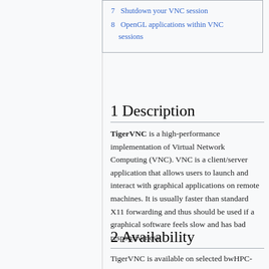7 Shutdown your VNC session
8 OpenGL applications within VNC sessions
1 Description
TigerVNC is a high-performance implementation of Virtual Network Computing (VNC). VNC is a client/server application that allows users to launch and interact with graphical applications on remote machines. It is usually faster than standard X11 forwarding and thus should be used if a graphical software feels slow and has bad responsiveness.
2 Availability
TigerVNC is available on selected bwHPC-Clusters. A complete list of